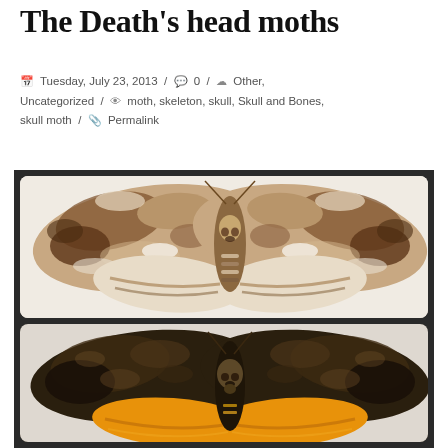The Death's head moths
Tuesday, July 23, 2013 / 0 / Other, Uncategorized / moth, skeleton, skull, Skull and Bones, skull moth / Permalink
[Figure (photo): Top: Death's head moth (Acherontia) with wings spread, brown and cream patterned wings, skull-like marking on thorax, white background. Bottom: Darker Death's head moth with dark brown/black wings and bright orange/yellow hindwings visible, skull-like face on thorax.]